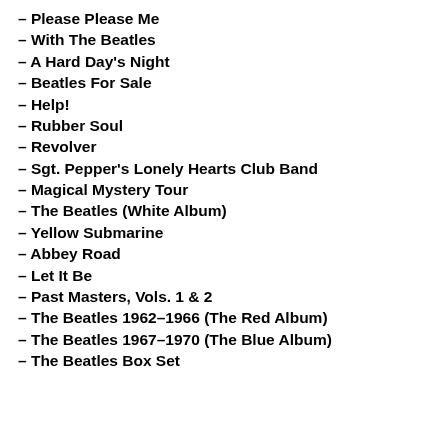– Please Please Me
– With The Beatles
– A Hard Day's Night
– Beatles For Sale
– Help!
– Rubber Soul
– Revolver
– Sgt. Pepper's Lonely Hearts Club Band
– Magical Mystery Tour
– The Beatles (White Album)
– Yellow Submarine
– Abbey Road
– Let It Be
– Past Masters, Vols. 1 & 2
– The Beatles 1962–1966 (The Red Album)
– The Beatles 1967–1970 (The Blue Album)
– The Beatles Box Set